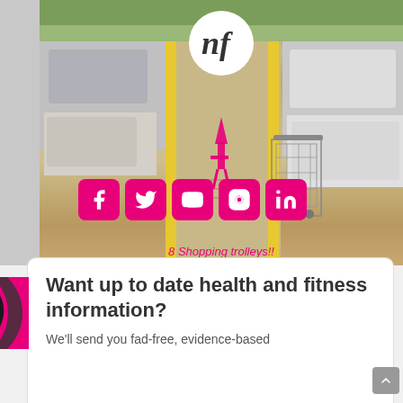[Figure (photo): Outdoor shopping center parking lot / trolley bay photo, viewed from above/walkway perspective, with yellow lines visible on sides. A white circle logo with stylized 'NF' initials is overlaid at top center. Five pink/magenta social media icon buttons (Facebook, Twitter, YouTube, Instagram, LinkedIn) are overlaid in the middle of the image. A pink arrow/person figure is visible in the center walkway. Text '8 Shopping trolleys!!' appears at bottom of image in pink italic text.]
8 Shopping trolleys!!
Want up to date health and fitness information?
We'll send you fad-free, evidence-based